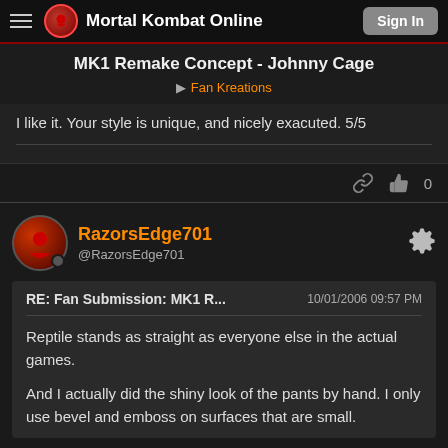Mortal Kombat Online | Sign In
MK1 Remake Concept - Johnny Cage
Fan Kreations
I like it. Your style is unique, and nicely exacuted. 5/5
RazorsEdge701 @RazorsEdge701
RE: Fan Submission: MK1 R...  10/01/2006 09:57 PM
Reptile stands as straight as everyone else in the actual games.

And I actually did the shiny look of the pants by hand. I only use bevel and emboss on surfaces that are small.